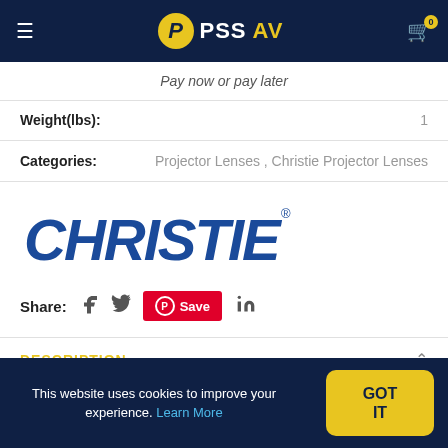PSSAV
Pay now or pay later
Weight(lbs): 1
Categories: Projector Lenses , Christie Projector Lenses
[Figure (logo): Christie brand logo in bold blue italic text]
Share:
DESCRIPTION
This website uses cookies to improve your experience. Learn More